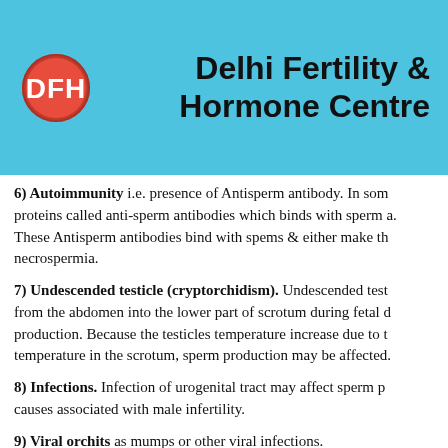[Figure (logo): Delhi Fertility & Hormone Centre logo - red circular emblem with letters DFH]
Delhi Fertility & Hormone Centre
6) Autoimmunity i.e. presence of Antisperm antibody. In some proteins called anti-sperm antibodies which binds with sperm a. These Antisperm antibodies bind with spems & either make th necrospermia.
7) Undescended testicle (cryptorchidism). Undescended test from the abdomen into the lower part of scrotum during fetal d production. Because the testicles temperature increase due to t temperature in the scrotum, sperm production may be affected.
8) Infections. Infection of urogenital tract may affect sperm p causes associated with male infertility.
9) Viral orchits as mumps or other viral infections.
10) Infections as tuberculosis, sarcoidosis involving testis or su
11) Chronic systemic diseases as Liver diseases, Renal failure,